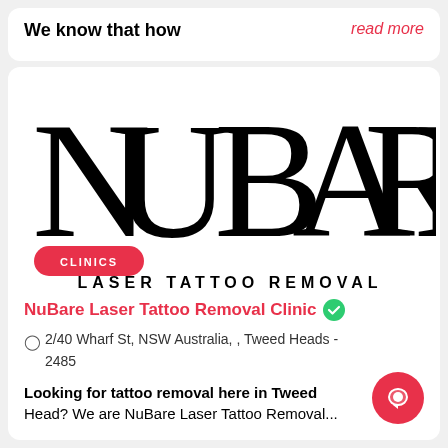We know that how
read more
[Figure (logo): NuBare Clinics Laser Tattoo Removal logo — large stylized black text 'NuBare' with a red pill-shaped badge reading 'CLINICS' and below it 'LASER TATTOO REMOVAL' in spaced uppercase]
NuBare Laser Tattoo Removal Clinic
2/40 Wharf St, NSW Australia, , Tweed Heads - 2485
Looking for tattoo removal here in Tweed Head? We are NuBare Laser Tattoo Removal...